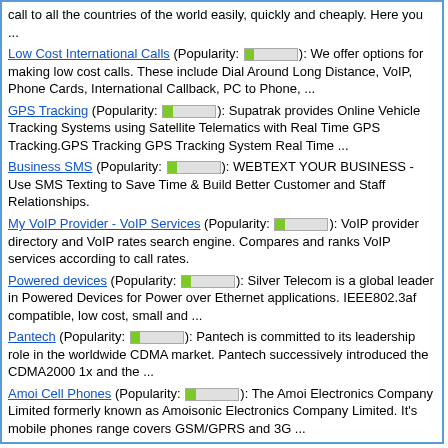call to all the countries of the world easily, quickly and cheaply. Here you ...
Low Cost International Calls (Popularity: [bar]): We offer options for making low cost calls. These include Dial Around Long Distance, VoIP, Phone Cards, International Callback, PC to Phone, ...
GPS Tracking (Popularity: [bar]): Supatrak provides Online Vehicle Tracking Systems using Satellite Telematics with Real Time GPS Tracking.GPS Tracking GPS Tracking System Real Time ...
Business SMS (Popularity: [bar]): WEBTEXT YOUR BUSINESS - Use SMS Texting to Save Time & Build Better Customer and Staff Relationships.
My VoIP Provider - VoIP Services (Popularity: [bar]): VoIP provider directory and VoIP rates search engine. Compares and ranks VoIP services according to call rates.
Powered devices (Popularity: [bar]): Silver Telecom is a global leader in Powered Devices for Power over Ethernet applications. IEEE802.3af compatible, low cost, small and ...
Pantech (Popularity: [bar]): Pantech is committed to its leadership role in the worldwide CDMA market. Pantech successively introduced the CDMA2000 1x and the ...
Amoi Cell Phones (Popularity: [bar]): The Amoi Electronics Company Limited formerly known as Amoisonic Electronics Company Limited. It's mobile phones range covers GSM/GPRS and 3G ...
Top Toshiba Phones (Popularity: [bar]): The Toshiba America, Inc. (TAI) is the holding company for one of the nation's leading group of high technology companies. ...
The Hardwood Orangery Company (Popularity: [bar]): The Hardwood Orangery Company is a supplier of be-spoke hand-carved hardwood orangerys and hardwood conservatories. All our contemprary and traditional ...
Boiler Accessories Manufacturer (Popularity: [bar]): Competent Services situated in Haryana, India is instrumental in Manufacturing, Exporting and Supplying a wide variety of Industrial Materials and ...